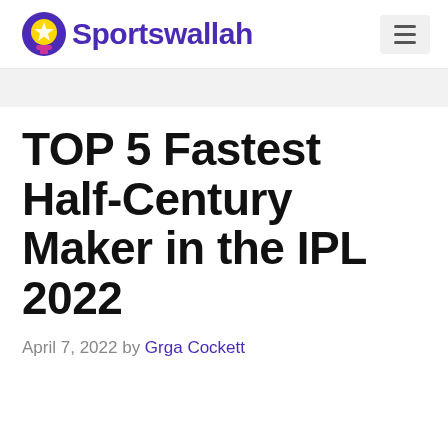Sportswallah
TOP 5 Fastest Half-Century Maker in the IPL 2022
April 7, 2022 by Grga Cockett